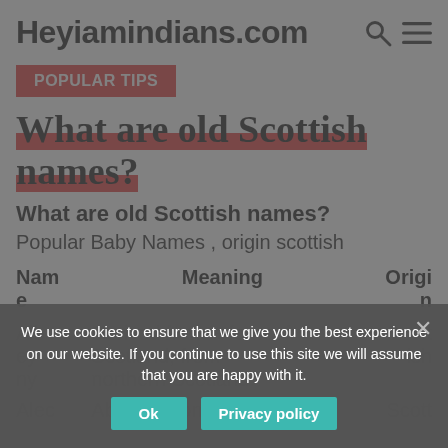Heyiamindians.com
POPULAR TIPS
What are old Scottish names?
What are old Scottish names?
Popular Baby Names , origin scottish
| Nam
e | Meaning | Origi
n |
| --- | --- | --- |
| Alb
ey
ny | Derived from a form of Scotland, from
northern Scotland. | Scott
ish |
| Alec | Abbreviation of Alexander | Scott |
We use cookies to ensure that we give you the best experience on our website. If you continue to use this site we will assume that you are happy with it.
Ok   Privacy policy